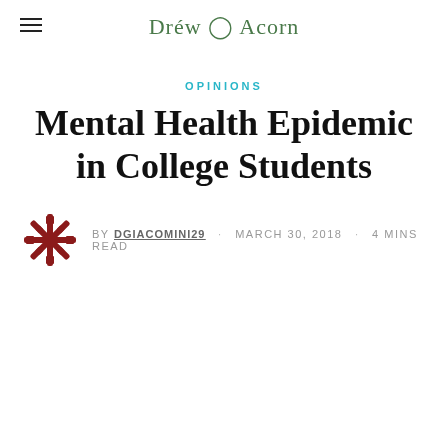Drew Acorn
OPINIONS
Mental Health Epidemic in College Students
BY DGIACOMINI29  MARCH 30, 2018  4 MINS READ